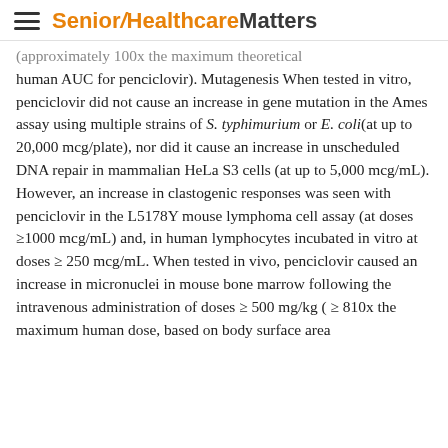Senior Healthcare Matters
(approximately 100x the maximum theoretical human AUC for penciclovir). Mutagenesis When tested in vitro, penciclovir did not cause an increase in gene mutation in the Ames assay using multiple strains of S. typhimurium or E. coli(at up to 20,000 mcg/plate), nor did it cause an increase in unscheduled DNA repair in mammalian HeLa S3 cells (at up to 5,000 mcg/mL). However, an increase in clastogenic responses was seen with penciclovir in the L5178Y mouse lymphoma cell assay (at doses ≥1000 mcg/mL) and, in human lymphocytes incubated in vitro at doses ≥ 250 mcg/mL. When tested in vivo, penciclovir caused an increase in micronuclei in mouse bone marrow following the intravenous administration of doses ≥ 500 mg/kg ( ≥ 810x the maximum human dose, based on body surface area